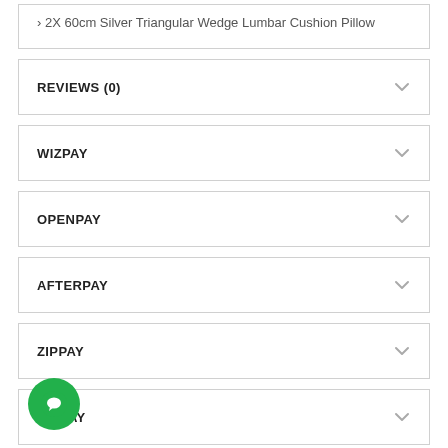2X 60cm Silver Triangular Wedge Lumbar Cushion Pillow
REVIEWS (0)
WIZPAY
OPENPAY
AFTERPAY
ZIPPAY
DE PAY